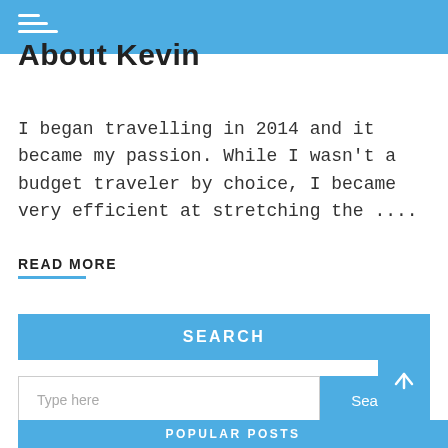About Kevin
I began travelling in 2014 and it became my passion. While I wasn't a budget traveler by choice, I became very efficient at stretching the ....
READ MORE
SEARCH
Type here
Search
POPULAR POSTS